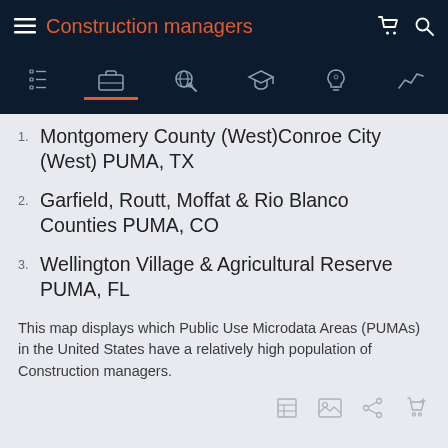Construction managers
Montgomery County (West)Conroe City (West) PUMA, TX
Garfield, Routt, Moffat & Rio Blanco Counties PUMA, CO
Wellington Village & Agricultural Reserve PUMA, FL
This map displays which Public Use Microdata Areas (PUMAs) in the United States have a relatively high population of Construction managers.